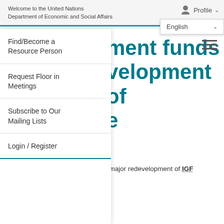Welcome to the United Nations
Department of Economic and Social Affairs
Find/Become a Resource Person
Request Floor in Meetings
Subscribe to Our Mailing Lists
Login / Register
…ment funds …velopment of …e
…major redevelopment of IGF
27 April 2020